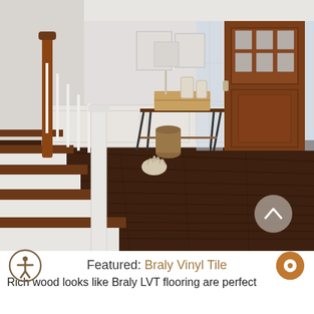[Figure (photo): Interior entryway with dark walnut-look LVT flooring, white staircase with wood treads, craftsman-style front door in warm brown wood, console table with lamp and lanterns, light gray walls with wainscoting, and sidelight windows.]
Featured: Braly Vinyl Tile
Rich wood looks like Braly LVT flooring are perfect